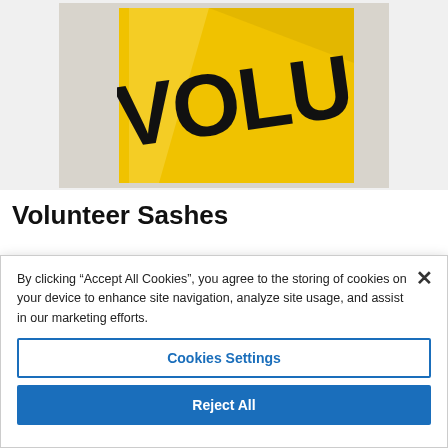[Figure (photo): A yellow volunteer sash with bold black text reading 'VOLU' visible, photographed at an angle on a light gray/white surface.]
Volunteer Sashes
Volunteer sashes for company, organisation or event
By clicking “Accept All Cookies”, you agree to the storing of cookies on your device to enhance site navigation, analyze site usage, and assist in our marketing efforts.
Cookies Settings
Reject All